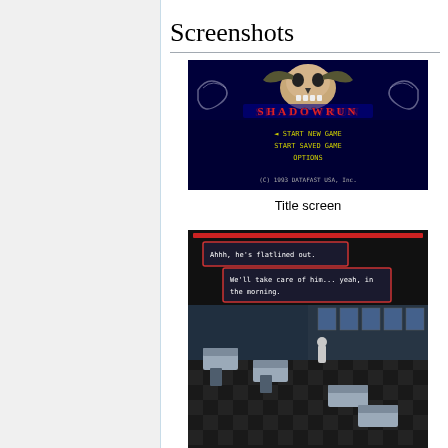Screenshots
[Figure (screenshot): Shadowrun title screen showing game logo with skull and horns, menu options: START NEW GAME, START SAVED GAME, OPTIONS, and copyright (C) 1993 DATAFAST USA, Inc.]
Title screen
[Figure (screenshot): Shadowrun gameplay screenshot showing isometric hospital scene with dialogue boxes reading 'Ahhh, he's flatlined out.' and 'We'll take care of him... yeah, in the morning.']